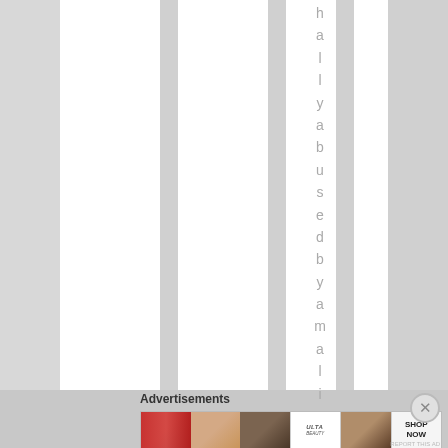[Figure (screenshot): Document page with vertical striped white and gray column layout. A vertical text string reading 'h a l l y a b u s e d b y a m a l i' is displayed in one of the columns.]
Advertisements
[Figure (infographic): Horizontal advertisement banner featuring makeup/beauty imagery: lips with brush, powder brush face, eye with dramatic makeup, ULTA beauty logo, dramatic eye makeup close-up, and SHOP NOW call to action button.]